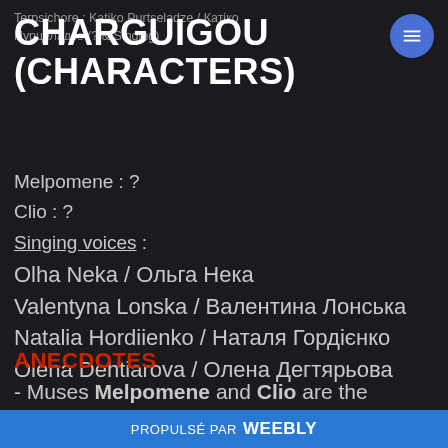Terpsichore : Katiko Purtseladze / Катіко Пурцеладзе (? & Singing)
CHARGUIGOU (CHARACTERS)
Melpomene : ?
Clio : ?
Singing voices :
Olha Neka / Ольга Нека
Valentyna Lonska / Валентина Лонська
Natalia Hordiienko / Наталя Гордієнко
Olena Dehtiarova / Олена Дегтярьова
ANECDOTES
- Muses Melpomene and Clio are the
PROPULSÉ PAR weebly